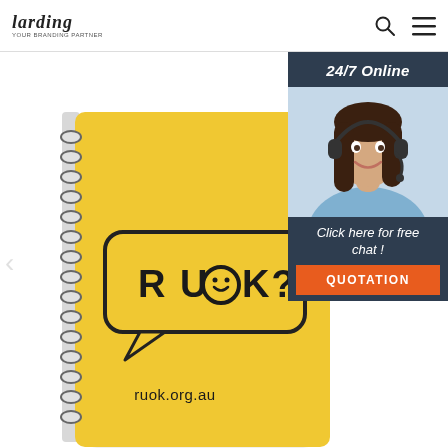Larding | 24/7 Online
[Figure (photo): Yellow spiral-bound notebook with R U OK? logo (speech bubble design) and ruok.org.au printed on the cover, lying against a white background with a pen beside it. Overlaid with a customer support chat widget showing a woman with headset, '24/7 Online' text, 'Click here for free chat!' text, and a QUOTATION orange button.]